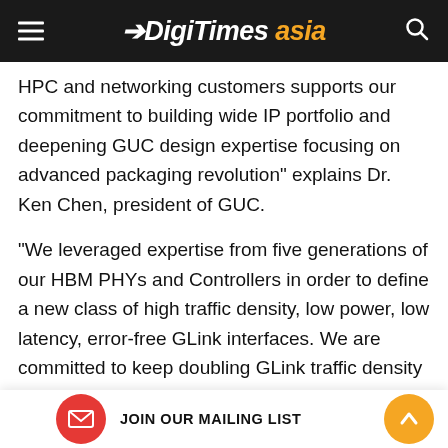DIGITIMES asia
HPC and networking customers supports our commitment to building wide IP portfolio and deepening GUC design expertise focusing on advanced packaging revolution" explains Dr. Ken Chen, president of GUC.
"We leveraged expertise from five generations of our HBM PHYs and Controllers in order to define a new class of high traffic density, low power, low latency, error-free GLink interfaces. We are committed to keep doubling GLink traffic density every year while keeping the same power and latency. Starting from 2021 we are going to complement HBM bringing order of magnitude higher traffic density,